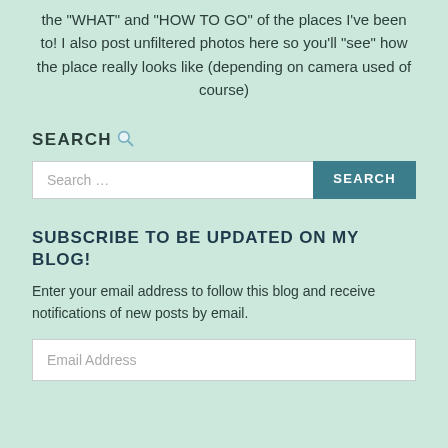the "WHAT" and "HOW TO GO" of the places I've been to! I also post unfiltered photos here so you'll "see" how the place really looks like (depending on camera used of course)
SEARCH 🔍
Search …
SUBSCRIBE TO BE UPDATED ON MY BLOG!
Enter your email address to follow this blog and receive notifications of new posts by email.
Email Address